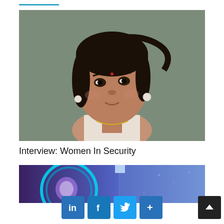[Figure (photo): Portrait photo of a woman with dark hair pulled back, wearing pearl earrings and a light-colored top, looking slightly upward, against a grey-green background.]
Interview: Women In Security
[Figure (photo): Partial image showing glowing blue neon light rings/loops against a purple-blue background, possibly a cybersecurity themed graphic.]